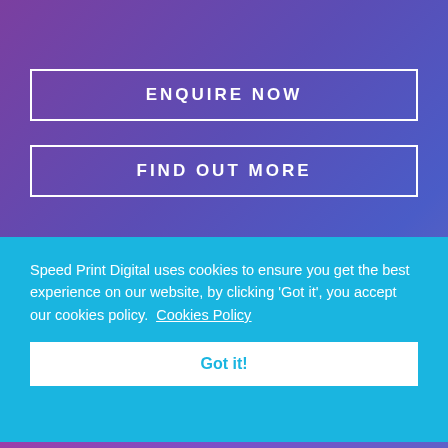ENQUIRE NOW
FIND OUT MORE
Speed Print Digital uses cookies to ensure you get the best experience on our website, by clicking 'Got it', you accept our cookies policy.  Cookies Policy
Got it!